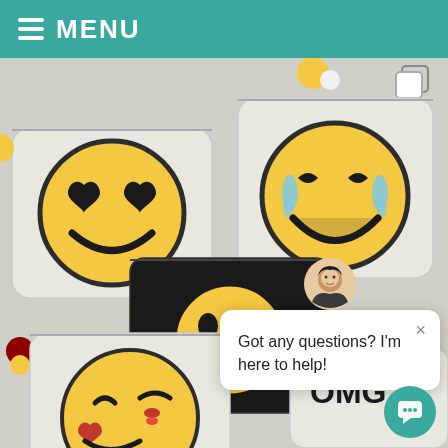MENU
[Figure (photo): Five beaded emoji coin purses/pouches arranged in a fan layout. Top-left: white beaded pouch with heart-eyes smiley face emoji and yellow/red pom-pom zipper. Top-right: white beaded pouch with laughing-crying emoji and yellow pom-pom zipper. Center: black beaded pouch with yellow smiley face. Bottom-left: white beaded pouch with winking kiss emoji and dark red/yellow pom-pom. Bottom-right (partial): white beaded pouch with 'OMG' text and smiley face.]
[Figure (screenshot): Chat overlay bubble with avatar of a woman, close X button, and text 'Got any questions? I'm here to help!']
Got any questions? I'm here to help!